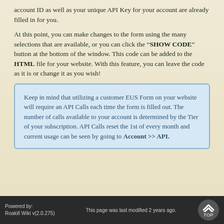account ID as well as your unique API Key for your account are already filled in for you.
At this point, you can make changes to the form using the many selections that are available, or you can click the "SHOW CODE" button at the bottom of the window. This code can be added to the HTML file for your website. With this feature, you can leave the code as it is or change it as you wish!
Keep in mind that utilizing a customer EUS Form on your website will require an API Calls each time the form is filled out. The number of calls available to your account is determined by the Tier of your subscription. API Calls reset the 1st of every month and current usage can be seen by going to Account >> API.
Powered by:
Roakill Wiki v(2.0.275)
This page was last modified 2 years ago.
TOP